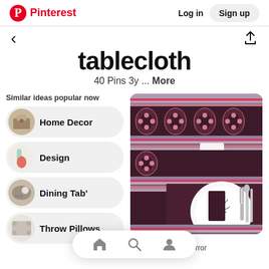Pinterest   Log in   Sign up
tablecloth
40 Pins 3y ... More
Similar ideas popular now
Home Decor
Design
Dining Tab’
Throw Pillows
[Figure (photo): Dark maroon/purple tablecloth with floral block print pattern and colorful horizontal stripes, with a white plate and silverware setting visible]
burstblossom mirror